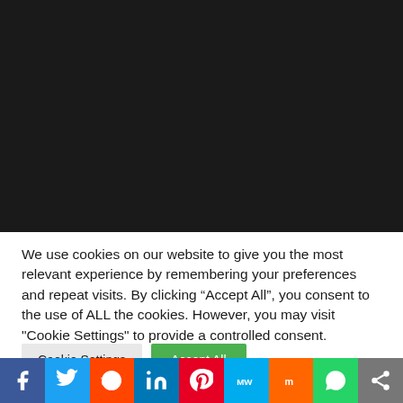[Figure (photo): Large dark/black background area occupying the top portion of the page]
We use cookies on our website to give you the most relevant experience by remembering your preferences and repeat visits. By clicking “Accept All”, you consent to the use of ALL the cookies. However, you may visit "Cookie Settings" to provide a controlled consent.
Cookie Settings | Accept All
[Figure (infographic): Social media sharing bar with icons for Facebook, Twitter, Reddit, LinkedIn, Pinterest, MixedVoices (MW), Mix, WhatsApp, and Share]